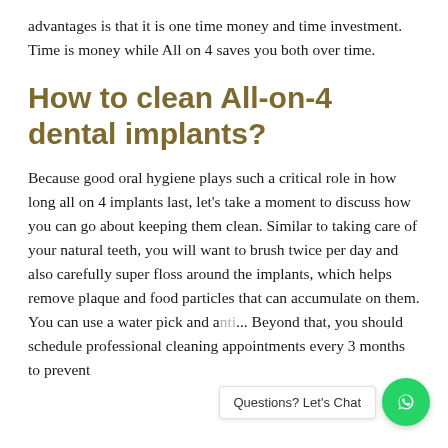advantages is that it is one time money and time investment. Time is money while All on 4 saves you both over time.
How to clean All-on-4 dental implants?
Because good oral hygiene plays such a critical role in how long all on 4 implants last, let's take a moment to discuss how you can go about keeping them clean. Similar to taking care of your natural teeth, you will want to brush twice per day and also carefully super floss around the implants, which helps remove plaque and food particles that can accumulate on them. You can use a water pick and a... Beyond that, you should schedule professional cleaning appointments every 3 months to prevent